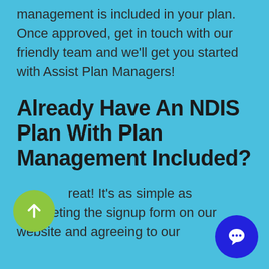management is included in your plan. Once approved, get in touch with our friendly team and we'll get you started with Assist Plan Managers!
Already Have An NDIS Plan With Plan Management Included?
Great! It's as simple as completing the signup form on our website and agreeing to our